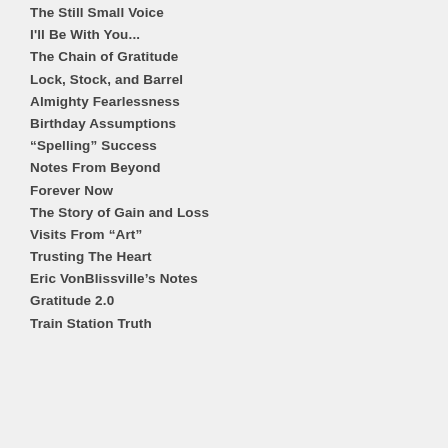The Still Small Voice
I'll Be With You...
The Chain of Gratitude
Lock, Stock, and Barrel
Almighty Fearlessness
Birthday Assumptions
“Spelling” Success
Notes From Beyond
Forever Now
The Story of Gain and Loss
Visits From “Art”
Trusting The Heart
Eric VonBlissville’s Notes
Gratitude 2.0
Train Station Truth